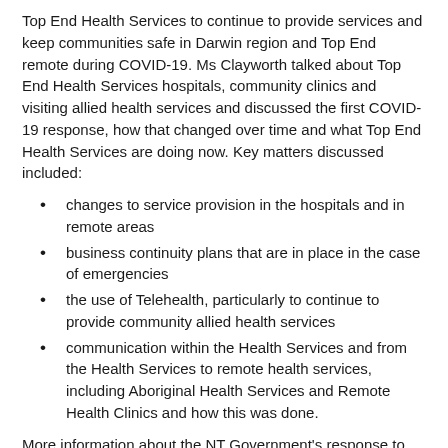Top End Health Services to continue to provide services and keep communities safe in Darwin region and Top End remote during COVID-19. Ms Clayworth talked about Top End Health Services hospitals, community clinics and visiting allied health services and discussed the first COVID-19 response, how that changed over time and what Top End Health Services are doing now. Key matters discussed included:
changes to service provision in the hospitals and in remote areas
business continuity plans that are in place in the case of emergencies
the use of Telehealth, particularly to continue to provide community allied health services
communication within the Health Services and from the Health Services to remote health services, including Aboriginal Health Services and Remote Health Clinics and how this was done.
More information about the NT Government's response to COVID-19 can be found on the Coronavirus website.
Mr Dan English, from the NDIA talked about the NDIA's response to support NDIS participants during COVID-19, including: